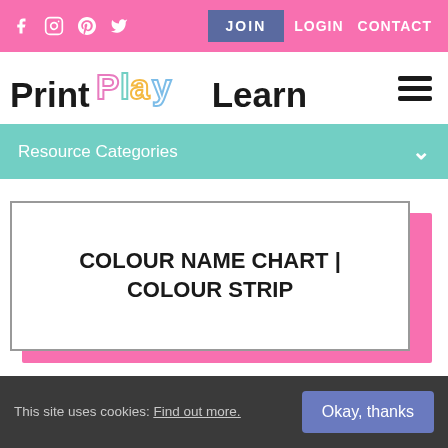f  IG  P  Twitter  |  JOIN  LOGIN  CONTACT
Print Play Learn
Resource Categories
COLOUR NAME CHART | COLOUR STRIP
This site uses cookies: Find out more.